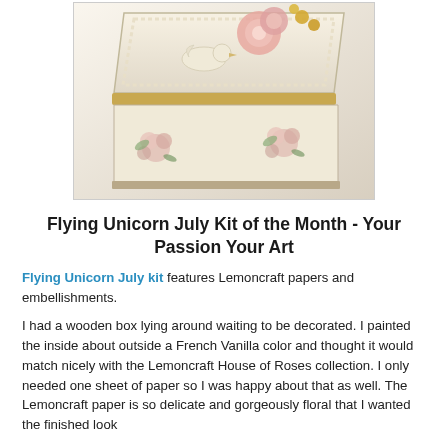[Figure (photo): A decorated white wooden box with pink roses and floral embellishments, a bird figurine on top, and a gold trim band around the middle.]
Flying Unicorn July Kit of the Month  - Your Passion Your Art
Flying Unicorn July kit features Lemoncraft papers and embellishments.
I had a wooden box lying around waiting to be decorated.  I painted the inside about outside a French Vanilla color and thought it would match nicely with the Lemoncraft House of Roses collection.  I only needed one sheet of paper so I was happy about that as well.  The Lemoncraft paper is so delicate and gorgeously floral that I wanted the finished look